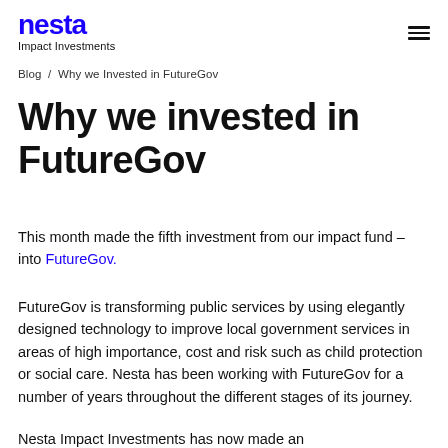nesta Impact Investments
Blog / Why we Invested in FutureGov
Why we invested in FutureGov
This month made the fifth investment from our impact fund – into FutureGov.
FutureGov is transforming public services by using elegantly designed technology to improve local government services in areas of high importance, cost and risk such as child protection or social care. Nesta has been working with FutureGov for a number of years throughout the different stages of its journey.
Nesta Impact Investments has now made an